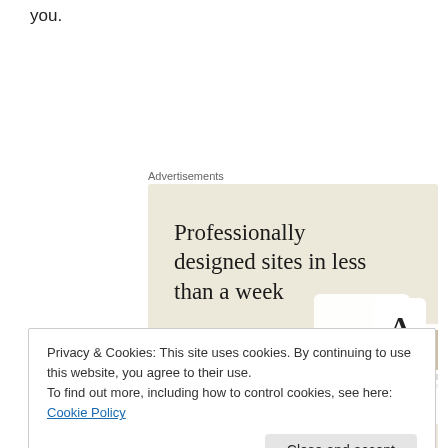you.
Advertisements
[Figure (screenshot): Advertisement banner with beige background showing 'Professionally designed sites in less than a week' headline with a green 'Explore options' button and website mockup images on the right.]
Privacy & Cookies: This site uses cookies. By continuing to use this website, you agree to their use.
To find out more, including how to control cookies, see here: Cookie Policy
Advertisements